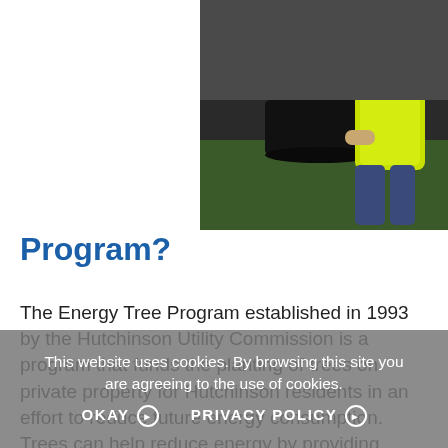[Figure (photo): A worker in a yellow high-visibility vest kneeling on grass, planting or handling a tree with a black plastic pot/container]
Program?
The Energy Tree Program established in 1993 by the Hutchinson Utility Commission is a program that funds the planting of trees on private property for Hutchinson residents in an effort to reduce future energy consumption. Trees can help reduce energy by providing shade from the sun in the summer months and blocking cold northwest winds during the winter months.

The energy tree program provides for up to 3 trees to be delivered to the homeowner's property for a flat fee of $15.  Homeowners will consult with
This website uses cookies. By browsing this site you are agreeing to the use of cookies.
OKAY  |  PRIVACY POLICY